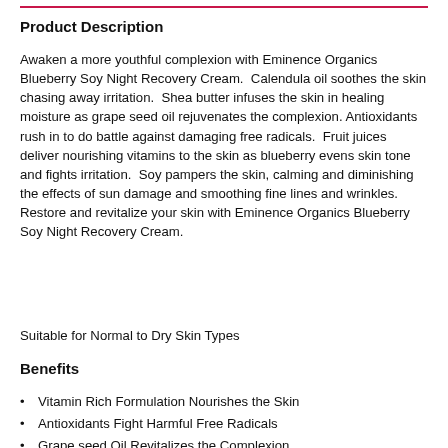Product Description
Awaken a more youthful complexion with Eminence Organics Blueberry Soy Night Recovery Cream.  Calendula oil soothes the skin chasing away irritation.  Shea butter infuses the skin in healing moisture as grape seed oil rejuvenates the complexion.  Antioxidants rush in to do battle against damaging free radicals.  Fruit juices deliver nourishing vitamins to the skin as blueberry evens skin tone and fights irritation.  Soy pampers the skin, calming and diminishing the effects of sun damage and smoothing fine lines and wrinkles.  Restore and revitalize your skin with Eminence Organics Blueberry Soy Night Recovery Cream.
Suitable for Normal to Dry Skin Types
Benefits
Vitamin Rich Formulation Nourishes the Skin
Antioxidants Fight Harmful Free Radicals
Grape seed Oil Revitalizes the Complexion